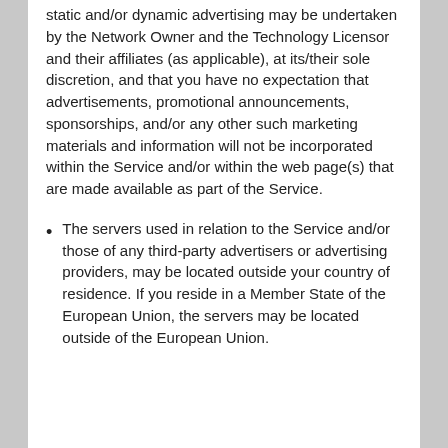static and/or dynamic advertising may be undertaken by the Network Owner and the Technology Licensor and their affiliates (as applicable), at its/their sole discretion, and that you have no expectation that advertisements, promotional announcements, sponsorships, and/or any other such marketing materials and information will not be incorporated within the Service and/or within the web page(s) that are made available as part of the Service.
The servers used in relation to the Service and/or those of any third-party advertisers or advertising providers, may be located outside your country of residence. If you reside in a Member State of the European Union, the servers may be located outside of the European Union.